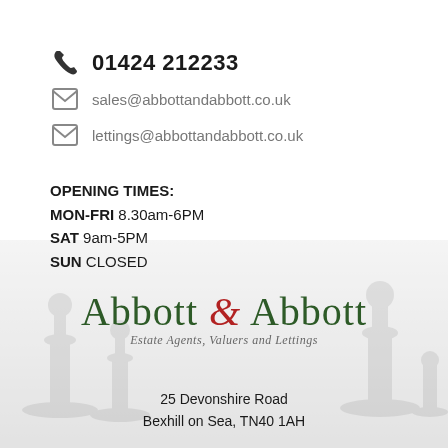01424 212233
sales@abbottandabbott.co.uk
lettings@abbottandabbott.co.uk
OPENING TIMES:
MON-FRI 8.30am-6PM
SAT 9am-5PM
SUN CLOSED
[Figure (logo): Abbott & Abbott logo with tagline Estate Agents, Valuers and Lettings]
25 Devonshire Road
Bexhill on Sea, TN40 1AH